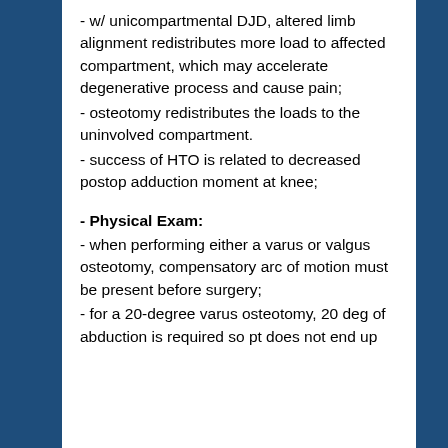- w/ unicompartmental DJD, altered limb alignment redistributes more load to affected compartment, which may accelerate degenerative process and cause pain;
- osteotomy redistributes the loads to the uninvolved compartment.
- success of HTO is related to decreased postop adduction moment at knee;
- Physical Exam:
- when performing either a varus or valgus osteotomy, compensatory arc of motion must be present before surgery;
- for a 20-degree varus osteotomy, 20 deg of abduction is required so pt does not end up